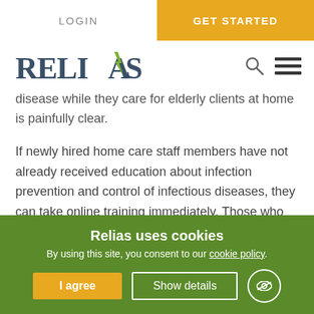LOGIN | GET STARTED
[Figure (logo): Relias logo with green arrow A, search icon and hamburger menu]
disease while they care for elderly clients at home is painfully clear.
If newly hired home care staff members have not already received education about infection prevention and control of infectious diseases, they can take online training immediately. Those who have had training may desire a refresher in light of the current pandemic.
Relias uses cookies
By using this site, you consent to our cookie policy.
I agree | Show details